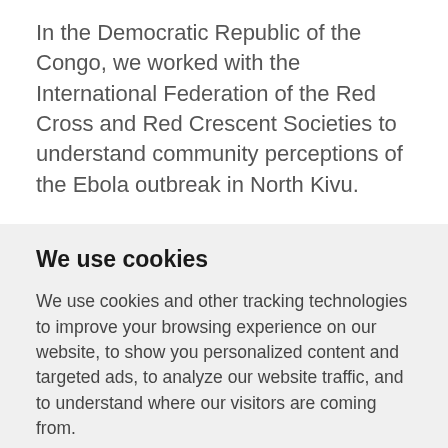In the Democratic Republic of the Congo, we worked with the International Federation of the Red Cross and Red Crescent Societies to understand community perceptions of the Ebola outbreak in North Kivu.
We use cookies
We use cookies and other tracking technologies to improve your browsing experience on our website, to show you personalized content and targeted ads, to analyze our website traffic, and to understand where our visitors are coming from.